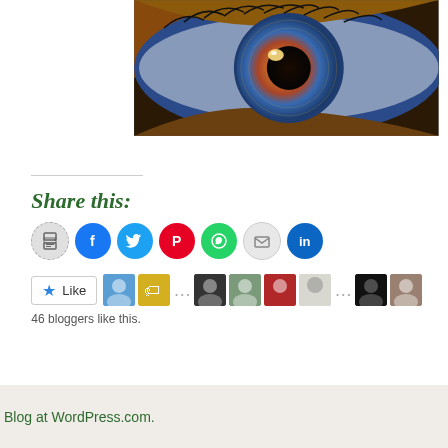[Figure (photo): Close-up macro photograph of a human eye with vivid blue iris and golden-orange central detail, dramatic lighting]
Share this:
[Figure (infographic): Row of social sharing icon buttons: print (grey), Facebook (blue), Twitter (blue), Pinterest (red), WhatsApp (green), email (grey), LinkedIn (blue)]
[Figure (infographic): WordPress Like button with star icon and a row of blogger avatar thumbnails (approximately 8 visible avatars)]
46 bloggers like this.
Read Full Post »
Blog at WordPress.com.